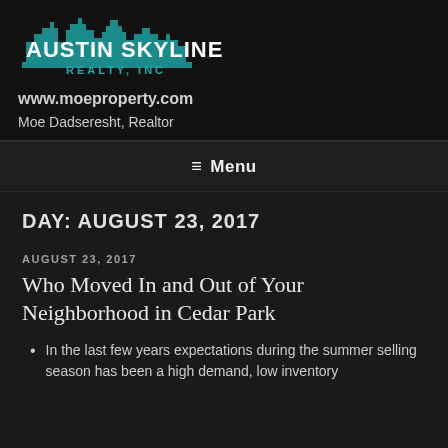[Figure (logo): Austin Skyline Realty, Inc. logo with teal city skyline silhouette and bold white/teal text]
www.moeproperty.com
Moe Dadseresht, Realtor
≡ Menu
DAY: AUGUST 23, 2017
AUGUST 23, 2017
Who Moved In and Out of Your Neighborhood in Cedar Park
In the last few years expectations during the summer selling season has been a high demand, low inventory